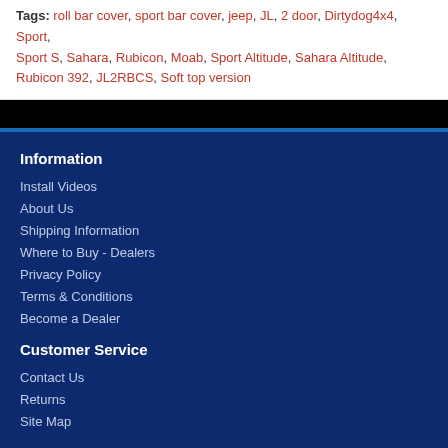Tags: roll bar cover, sport bar cover, jeep, JL, 2 door, Dirtydog4x4, Sport, Sport S, Sahara, Rubicon, Moab, Sport Altitude, Sahara Altitude, Rubicon 392, JL2RBCS, Soft top version
Information
Install Videos
About Us
Shipping Information
Where to Buy - Dealers
Privacy Policy
Terms & Conditions
Become a Dealer
Customer Service
Contact Us
Returns
Site Map
Extras
Brands